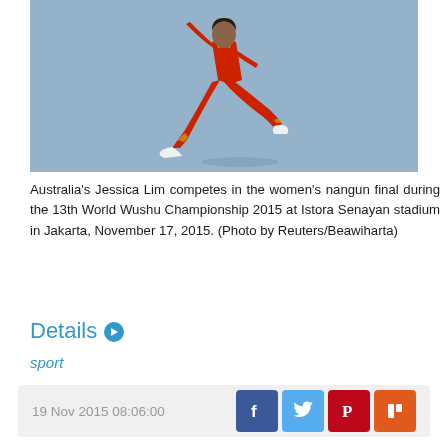[Figure (photo): Athlete in red uniform performing a jump/kick during the women's nangun final at the 13th World Wushu Championship 2015, photographed against a blue mat background]
Australia's Jessica Lim competes in the women's nangun final during the 13th World Wushu Championship 2015 at Istora Senayan stadium in Jakarta, November 17, 2015. (Photo by Reuters/Beawiharta)
Details
sport
19 Nov 2015 08:06:00
1 2 3 4 5